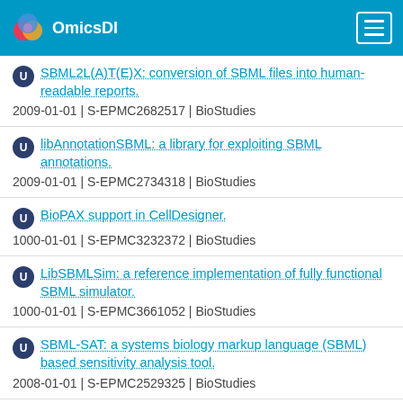OmicsDI
SBML2L(A)T(E)X: conversion of SBML files into human-readable reports.
2009-01-01 | S-EPMC2682517 | BioStudies
libAnnotationSBML: a library for exploiting SBML annotations.
2009-01-01 | S-EPMC2734318 | BioStudies
BioPAX support in CellDesigner.
1000-01-01 | S-EPMC3232372 | BioStudies
LibSBMLSim: a reference implementation of fully functional SBML simulator.
1000-01-01 | S-EPMC3661052 | BioStudies
SBML-SAT: a systems biology markup language (SBML) based sensitivity analysis tool.
2008-01-01 | S-EPMC2529325 | BioStudies